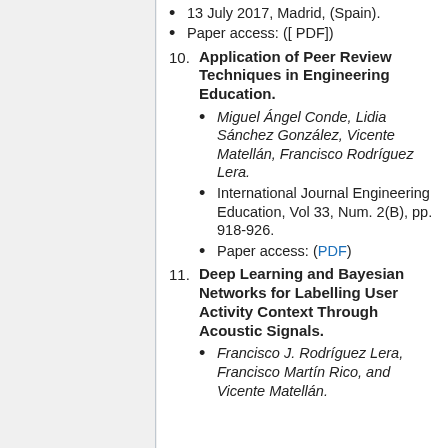13 July 2017, Madrid, (Spain).
Paper access: ([ PDF])
10. Application of Peer Review Techniques in Engineering Education.
Miguel Ángel Conde, Lidia Sánchez González, Vicente Matellán, Francisco Rodríguez Lera.
International Journal Engineering Education, Vol 33, Num. 2(B), pp. 918-926.
Paper access: (PDF)
11. Deep Learning and Bayesian Networks for Labelling User Activity Context Through Acoustic Signals.
Francisco J. Rodríguez Lera, Francisco Martín Rico, and Vicente Matellán.